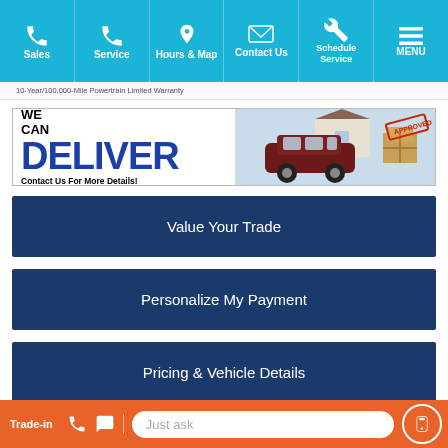Sales | Service | Hours & Map | Contact Us | Schedule Service | MENU
10-Year/100,000-Mile Powertrain Limited Warranty
[Figure (infographic): WE CAN DELIVER banner with a dark red SUV (Hyundai Palisade) and cardboard boxes. Text: WE CAN DELIVER - Contact Us For More Details!]
Value Your Trade
Personalize My Payment
Pricing & Vehicle Details
Trade-in | Just ask